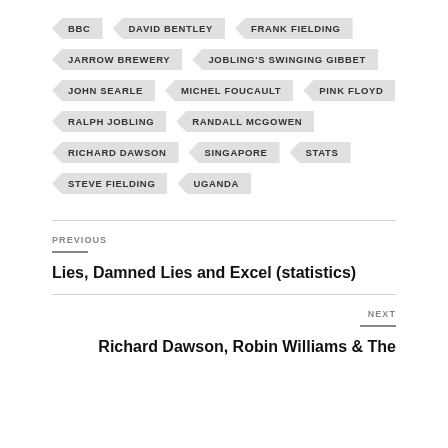BBC
DAVID BENTLEY
FRANK FIELDING
JARROW BREWERY
JOBLING'S SWINGING GIBBET
JOHN SEARLE
MICHEL FOUCAULT
PINK FLOYD
RALPH JOBLING
RANDALL MCGOWEN
RICHARD DAWSON
SINGAPORE
STATS
STEVE FIELDING
UGANDA
PREVIOUS
Lies, Damned Lies and Excel (statistics)
NEXT
Richard Dawson, Robin Williams & The